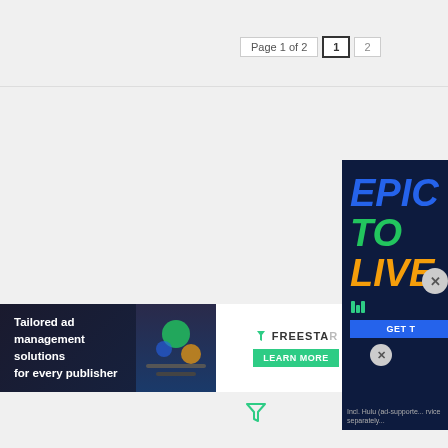Page 1 of 2  |  1  |  2
[Figure (illustration): Green filter/funnel icon on white background]
[Figure (advertisement): Freestar tailored ad management solutions banner advertisement with illustration]
[Figure (advertisement): Epic To Live Hulu advertisement panel on dark navy background with colorful text]